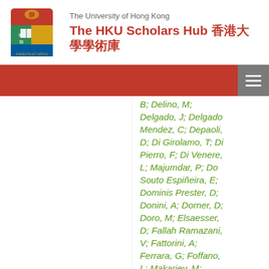The University of Hong Kong
The HKU Scholars Hub 香港大學學術庫
B; Delino, M; Delgado, J; Delgado Mendez, C; Depaoli, D; Di Girolamo, T; Di Pierro, F; Di Venere, L; Majumdar, P; Do Souto Espiñeira, E; Dominis Prester, D; Donini, A; Dorner, D; Doro, M; Elsaesser, D; Fallah Ramazani, V; Fattorini, A; Ferrara, G; Foffano, L; Makariev, M; Fonseca, MV; Font, L; Fruck, C; Fukami, S; García López, RJ; Garczarczyk, M;